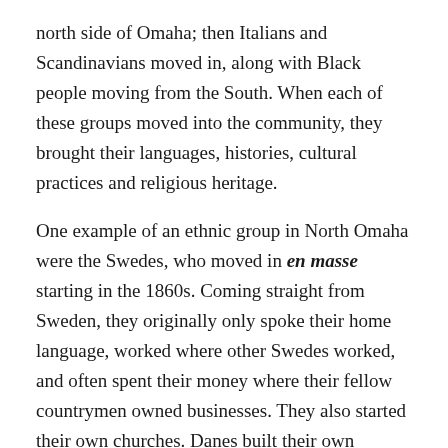north side of Omaha; then Italians and Scandinavians moved in, along with Black people moving from the South. When each of these groups moved into the community, they brought their languages, histories, cultural practices and religious heritage.
One example of an ethnic group in North Omaha were the Swedes, who moved in en masse starting in the 1860s. Coming straight from Sweden, they originally only spoke their home language, worked where other Swedes worked, and often spent their money where their fellow countrymen owned businesses. They also started their own churches. Danes built their own churches, too. The Norwegian-Danish Evangelical Lutheran Church was built at North 26th and Hamilton Streets in the early 1880s. The Danish Methodist Church was located in the Near North Side neighborhood at 1713 North 25th Street, and the First Danish Baptist Church was at 2511 Decatur in 1888. St.